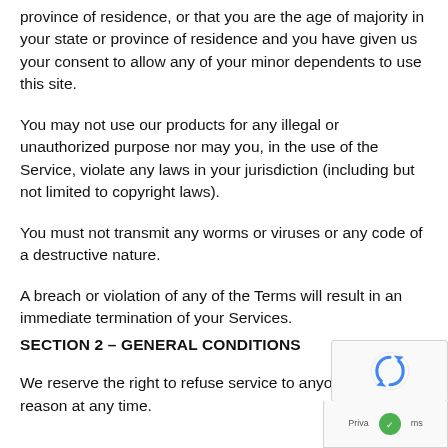province of residence, or that you are the age of majority in your state or province of residence and you have given us your consent to allow any of your minor dependents to use this site.
You may not use our products for any illegal or unauthorized purpose nor may you, in the use of the Service, violate any laws in your jurisdiction (including but not limited to copyright laws).
You must not transmit any worms or viruses or any code of a destructive nature.
A breach or violation of any of the Terms will result in an immediate termination of your Services.
SECTION 2 – GENERAL CONDITIONS
We reserve the right to refuse service to anyone for any reason at any time.